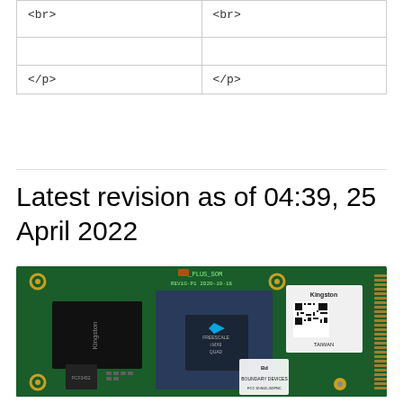| <br> | <br> |
| </p> | </p> |
Latest revision as of 04:39, 25 April 2022
[Figure (photo): Photograph of a green circuit board labeled BM_PLUS_SOM REV1G-P1 2020-10-16, showing Kingston memory chips, a processor chip with Freescale/NXP logo, a QR code label, and Boundary Devices FCC ID marking.]